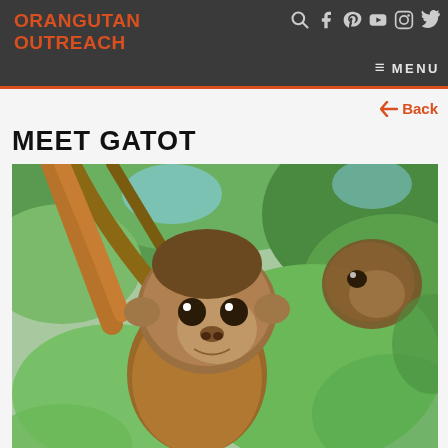ORANGUTAN OUTREACH
← Back
MEET GATOT
[Figure (photo): Baby orangutan hanging from a branch, looking at the camera, with green foliage background and another orangutan visible in the upper right.]